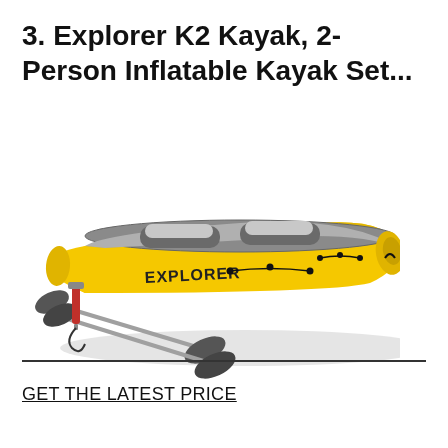3. Explorer K2 Kayak, 2-Person Inflatable Kayak Set...
[Figure (photo): Yellow and gray Intex Explorer K2 inflatable 2-person kayak with two gray paddles and a hand pump included in the set, shown on white background.]
GET THE LATEST PRICE